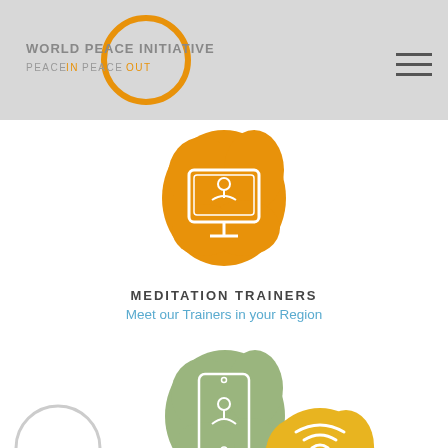World Peace Initiative — Peace In Peace Out
[Figure (illustration): Orange blob-shaped icon with a white monitor/screen showing a meditating figure, representing Meditation Trainers]
MEDITATION TRAINERS
Meet our Trainers in your Region
[Figure (illustration): Green blob-shaped icon with a white mobile phone showing a meditating figure, representing Peace Clubs]
PEACE CLUBS
Volunteers Program with Peace Clubs in Latin America
[Figure (illustration): Partial orange blob-shaped icon with WiFi/signal waves visible at bottom of page]